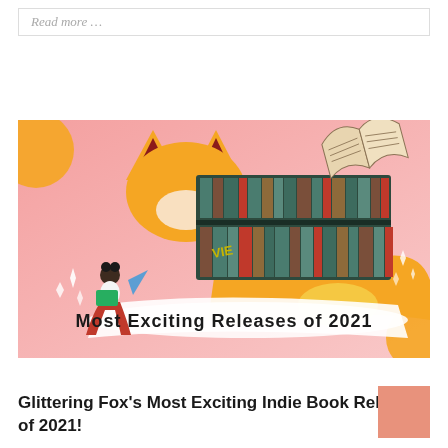Read more …
[Figure (illustration): Illustrated banner for 'Most Exciting Releases of 2021' featuring a fox, a person reading, a bookshelf, and decorative elements on a pink background]
Glittering Fox's Most Exciting Indie Book Releases of 2021!